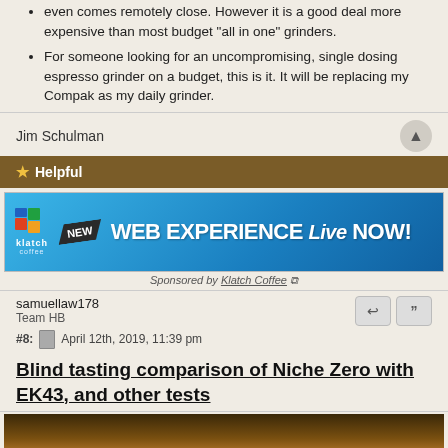even comes remotely close. However it is a good deal more expensive than most budget "all in one" grinders.
For someone looking for an uncompromising, single dosing espresso grinder on a budget, this is it. It will be replacing my Compak as my daily grinder.
Jim Schulman
★ Helpful
[Figure (advertisement): Klatch Coffee ad: NEW WEB EXPERIENCE Live NOW! in white text on blue brushstroke background]
Sponsored by Klatch Coffee ↗
samuellaw178
Team HB
#8:   April 12th, 2019, 11:39 pm
Blind tasting comparison of Niche Zero with EK43, and other tests
[Figure (photo): Partial photo of coffee-related equipment, warm brown tones]